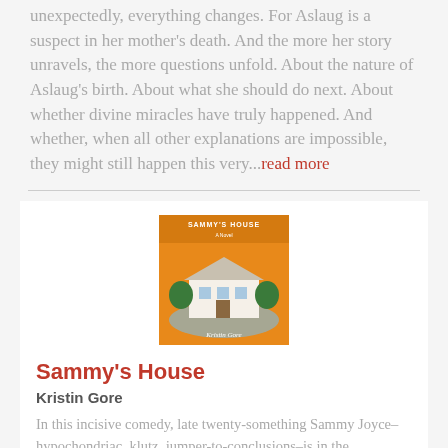unexpectedly, everything changes. For Aslaug is a suspect in her mother's death. And the more her story unravels, the more questions unfold. About the nature of Aslaug's birth. About what she should do next. About whether divine miracles have truly happened. And whether, when all other explanations are impossible, they might still happen this very...read more
[Figure (photo): Book cover of Sammy's House by Kristin Gore — orange background with illustration of a white house and trees]
Sammy's House
Kristin Gore
In this incisive comedy, late twenty-something Sammy Joyce–hypochondriac, klutz, jumper-to-conclusions–is in the